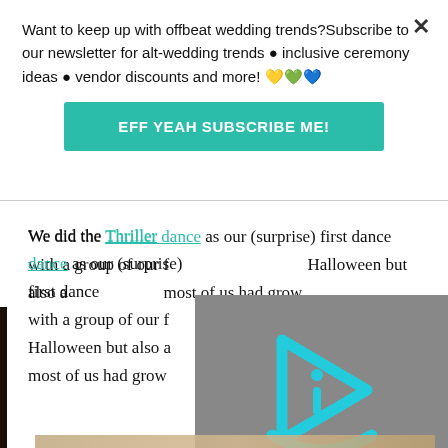Want to keep up with offbeat wedding trends?Subscribe to our newsletter for alt-wedding trends • inclusive ceremony ideas • vendor discounts and more! 💛💚💙
EFF YEAH SUBSCRIBE ME!
We did the Thriller dance as our (surprise) first dance with a group of our f[riends. It was perfect for] Halloween but also a[ppropriate because] most of us had grow[n up with MJ and...]
[Figure (screenshot): Video player overlay with cyan/teal play button icon (triangle with 'i' letter) on grey background]
[Figure (photo): Dark indoor photo, dimly lit venue, partial view at bottom left]
[Figure (photo): Warm-toned photo at very bottom of the page, partial view]